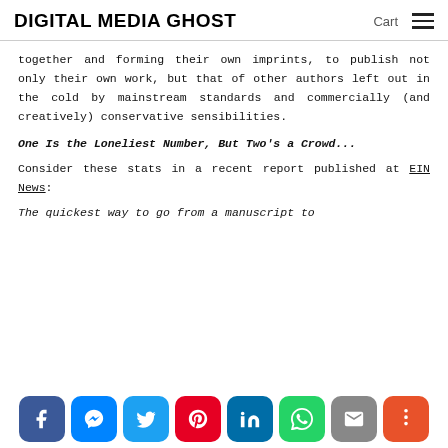DIGITAL MEDIA GHOST  Cart ≡
together and forming their own imprints, to publish not only their own work, but that of other authors left out in the cold by mainstream standards and commercially (and creatively) conservative sensibilities.
One Is the Loneliest Number, But Two's a Crowd...
Consider these stats in a recent report published at EIN News:
The quickest way to go from a manuscript to